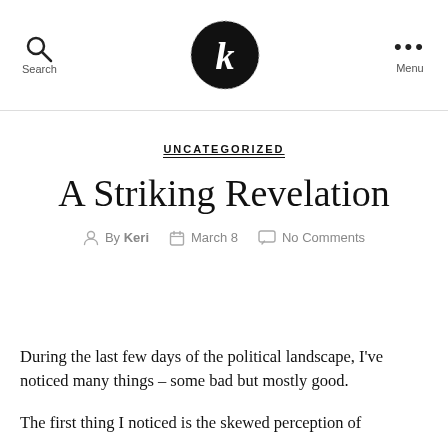Search | [K logo] | Menu
UNCATEGORIZED
A Striking Revelation
By Keri   March 8   No Comments
During the last few days of the political landscape, I've noticed many things – some bad but mostly good.
The first thing I noticed is the skewed perception of